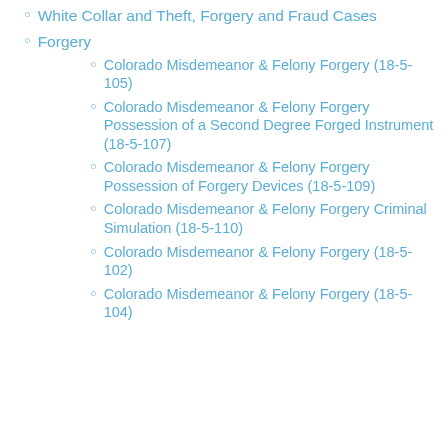White Collar and Theft, Forgery and Fraud Cases
Forgery
Colorado Misdemeanor & Felony Forgery (18-5-105)
Colorado Misdemeanor & Felony Forgery Possession of a Second Degree Forged Instrument (18-5-107)
Colorado Misdemeanor & Felony Forgery Possession of Forgery Devices (18-5-109)
Colorado Misdemeanor & Felony Forgery Criminal Simulation (18-5-110)
Colorado Misdemeanor & Felony Forgery (18-5-102)
Colorado Misdemeanor & Felony Forgery (18-5-104)